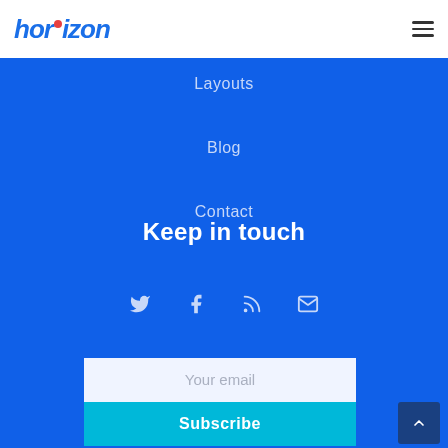[Figure (logo): Horizon logo in blue italic text with a red dot above the 'i']
[Figure (other): Hamburger menu icon (three horizontal lines)]
Layouts
Blog
Contact
Keep in touch
[Figure (infographic): Social media icons: Twitter bird, Facebook f, RSS feed, Email envelope]
[Figure (other): Email subscription form with 'Your email' placeholder input and 'Subscribe' button]
[Figure (other): Scroll to top button (dark blue square with upward chevron)]